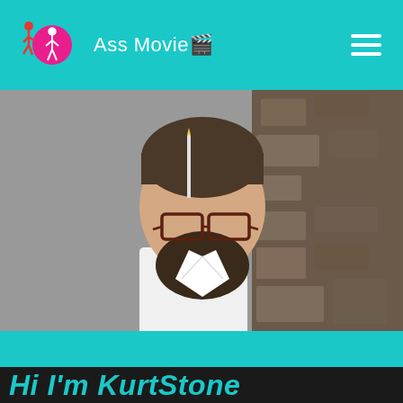Ass Movie🎬
[Figure (photo): Portrait photo of a young man with glasses, short hair, and a beard, wearing a white dress shirt, looking to the side. Background shows a stone wall.]
Hi I'm KurtStone